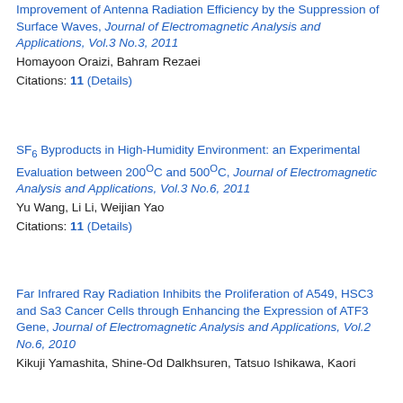Improvement of Antenna Radiation Efficiency by the Suppression of Surface Waves, Journal of Electromagnetic Analysis and Applications, Vol.3 No.3, 2011
Homayoon Oraizi, Bahram Rezaei
Citations: 11 (Details)
SF6 Byproducts in High-Humidity Environment: an Experimental Evaluation between 200°C and 500°C, Journal of Electromagnetic Analysis and Applications, Vol.3 No.6, 2011
Yu Wang, Li Li, Weijian Yao
Citations: 11 (Details)
Far Infrared Ray Radiation Inhibits the Proliferation of A549, HSC3 and Sa3 Cancer Cells through Enhancing the Expression of ATF3 Gene, Journal of Electromagnetic Analysis and Applications, Vol.2 No.6, 2010
Kikuji Yamashita, Shine-Od Dalkhsuren, Tatsuo Ishikawa, Kaori